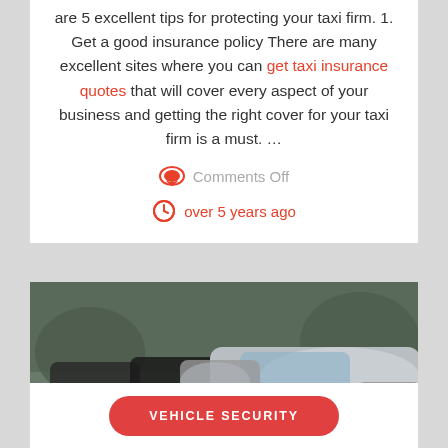are 5 excellent tips for protecting your taxi firm. 1. Get a good insurance policy There are many excellent sites where you can get taxi insurance quotes that will cover every aspect of your business and getting the right cover for your taxi firm is a must. …
Comments Off
over 5 years ago
[Figure (photo): A row of silver and dark cars parked in a parking lot, viewed from a low angle at the front of the vehicles.]
VEHICLE SECURITY